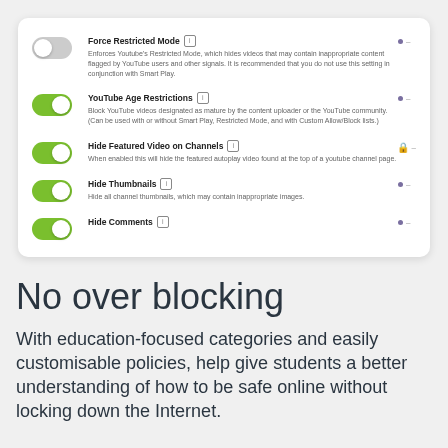[Figure (screenshot): Settings panel showing toggle switches for YouTube content filtering options: Force Restricted Mode (off), YouTube Age Restrictions (on), Hide Featured Video on Channels (on), Hide Thumbnails (on), Hide Comments (on). Each setting has a title, description, and a dot menu icon on the right.]
No over blocking
With education-focused categories and easily customisable policies, help give students a better understanding of how to be safe online without locking down the Internet.